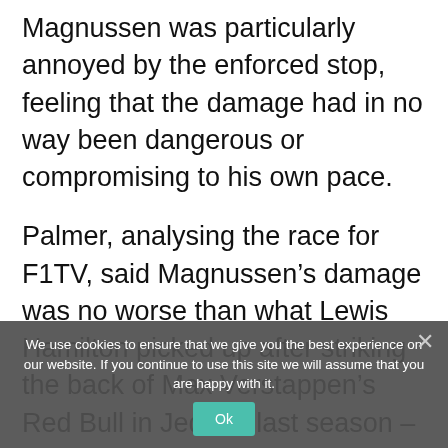Magnussen was particularly annoyed by the enforced stop, feeling that the damage had in no way been dangerous or compromising to his own pace.
Palmer, analysing the race for F1TV, said Magnussen’s damage was no worse than what Lewis Hamilton picked up after striking the back of Max Verstappen’s Red Bull in Jeddah last season – a race that Hamilton won and was crucial to keep the title fight alive.
“The big one that we saw, just about 10 races ago now, was when Hamilton hit the back of Verstappen in Jedda,” he said.
We use cookies to ensure that we give you the best experience on our website. If you continue to use this site we will assume that you are happy with it.